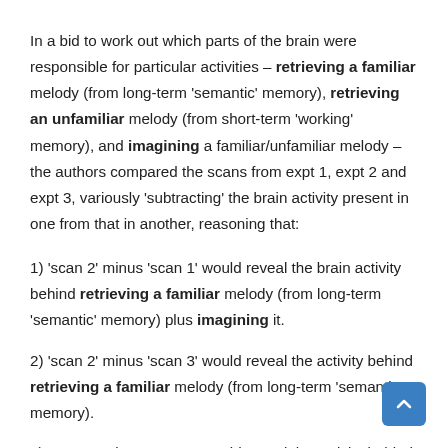In a bid to work out which parts of the brain were responsible for particular activities – retrieving a familiar melody (from long-term 'semantic' memory), retrieving an unfamiliar melody (from short-term 'working' memory), and imagining a familiar/unfamiliar melody – the authors compared the scans from expt 1, expt 2 and expt 3, variously 'subtracting' the brain activity present in one from that in another, reasoning that:
1) 'scan 2' minus 'scan 1' would reveal the brain activity behind retrieving a familiar melody (from long-term 'semantic' memory) plus imagining it.
2) 'scan 2' minus 'scan 3' would reveal the activity behind retrieving a familiar melody (from long-term 'semantic' memory).
3) 'scan 3' minus 'scan 1' would reveal the activity behind retrieving an unfamiliar melody (from short-term 'working'